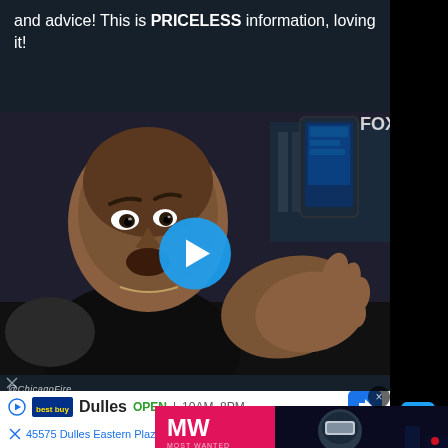and advice! This is PRICELESS information, loving it!
[Figure (screenshot): Video thumbnail of a man with a surprised/excited expression holding up hands, with a play button overlay and @ChicagoFire watermark, overlaid with a RoboCop video game advertisement (MW logo, 'ROBOCOP GETS A VIDEOGAME' text) in bottom right]
[Figure (screenshot): Bottom portion showing Twitter-style interaction icons (comment bubble and heart with count 9) and partial advertisement for Best Buy Dulles store showing OPEN 10AM-8PM and address 45575 Dulles Eastern Plaza, Suite 171]